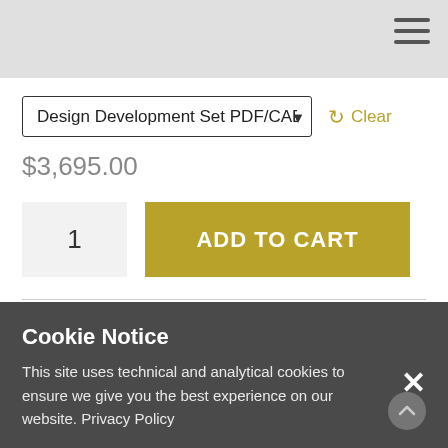Design Development Set PDF/CAD
Clear
$3,695.00
1
ADD TO CART
SKU: N/A
Category: The Bucks County Collection
Cookie Notice
This site uses technical and analytical cookies to ensure we give you the best experience on our website. Privacy Policy